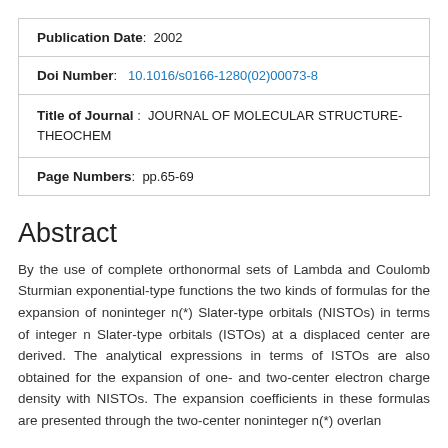| Publication Date | 2002 |
| Doi Number | 10.1016/s0166-1280(02)00073-8 |
| Title of Journal | JOURNAL OF MOLECULAR STRUCTURE-THEOCHEM |
| Page Numbers | pp.65-69 |
Abstract
By the use of complete orthonormal sets of Lambda and Coulomb Sturmian exponential-type functions the two kinds of formulas for the expansion of noninteger n(*) Slater-type orbitals (NISTOs) in terms of integer n Slater-type orbitals (ISTOs) at a displaced center are derived. The analytical expressions in terms of ISTOs are also obtained for the expansion of one- and two-center electron charge density with NISTOs. The expansion coefficients in these formulas are presented through the two-center noninteger n(*) overlan